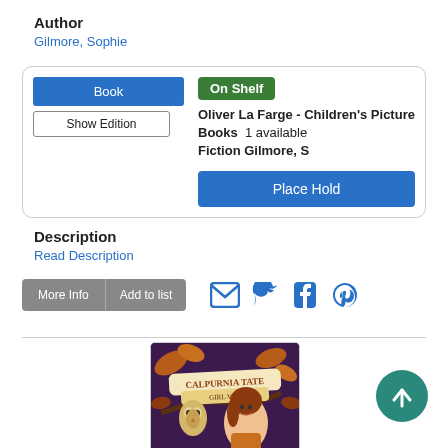Author
Gilmore, Sophie
| Book | On Shelf | Oliver La Farge - Children's Picture Books  1 available
Fiction Gilmore, S | Place Hold |
| Show Edition |  |  |  |
Description
Read Description
More Info | Add to list
[Figure (illustration): Book cover for Calpurnia Tate Girl Vet, featuring a girl with brown hair and an owl on a branch, with floral/autumn leaf decorations on a dark purple background.]
[Figure (other): Teal circular scroll-to-top button with upward arrow icon.]